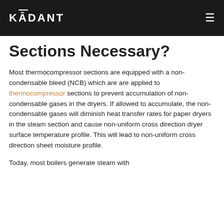KĀDANT
Sections Necessary?
Most thermocompressor sections are equipped with a non-condensable bleed (NCB) which are are applied to thermocompressor sections to prevent accumulation of non-condensable gases in the dryers. If allowed to accumulate, the non-condensable gases will diminish heat transfer rates for paper dryers in the steam section and cause non-uniform cross direction dryer surface temperature profile. This will lead to non-uniform cross direction sheet moisture profile.
Today, most boilers generate steam with